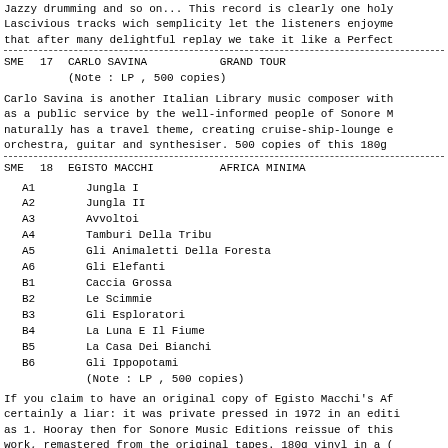Jazzy drumming and so on... This record is clearly one holy Lascivious tracks wich semplicity let the listeners enjoyme that after many delightful replay we take it like a Perfect
| SME | 17 | CARLO SAVINA | GRAND TOUR |
| --- | --- | --- | --- |
|  |  | (Note : LP , 500 copies) |  |
Carlo Savina is another Italian Library music composer with as a public service by the well-informed people of Sonore M naturally has a travel theme, creating cruise-ship-lounge e orchestra, guitar and synthesiser. 500 copies of this 180g
| SME | 18 | EGISTO MACCHI | AFRICA MINIMA |
| --- | --- | --- | --- |
A1    Jungla I
A2    Jungla II
A3    Avvoltoi
A4    Tamburi Della Tribu
A5    Gli Animaletti Della Foresta
A6    Gli Elefanti
B1    Caccia Grossa
B2    Le Scimmie
B3    Gli Esploratori
B4    La Luna E Il Fiume
B5    La Casa Dei Bianchi
B6    Gli Ippopotami
             (Note : LP , 500 copies)
If you claim to have an original copy of Egisto Macchi's Af certainly a liar: it was private pressed in 1972 in an editi as 1. Hooray then for Sonore Music Editions reissue of this work, remastered from the original tapes. 180g vinyl in a ( of 500